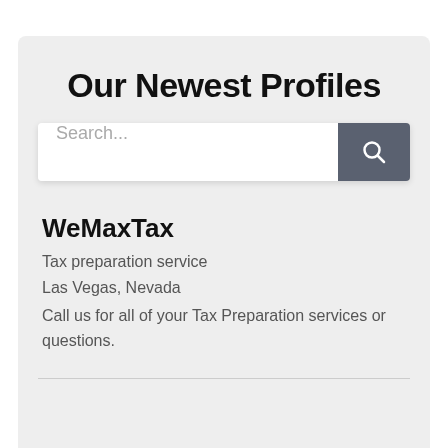Our Newest Profiles
[Figure (screenshot): Search bar with text placeholder 'Search...' and a dark grey search button with magnifying glass icon]
WeMaxTax
Tax preparation service
Las Vegas, Nevada
Call us for all of your Tax Preparation services or questions.